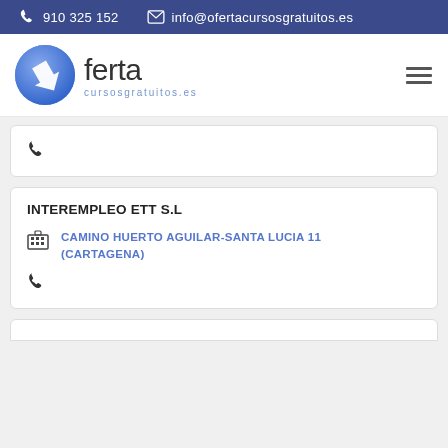910 325 152   info@ofertacursosgratuitos.es
[Figure (logo): Oferta Cursosgratuitos.es logo with blue circle and arrow icon]
[Figure (other): Hamburger menu icon (three horizontal lines)]
(phone icon only card row)
INTEREMPLEO ETT S.L
CAMINO HUERTO AGUILAR-SANTA LUCIA 11 (CARTAGENA)
(phone icon)
(partial card at bottom)